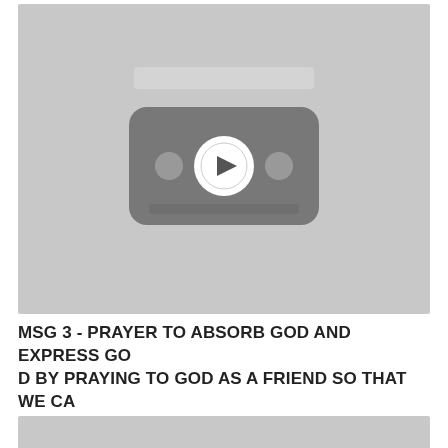[Figure (screenshot): A YouTube-style video thumbnail placeholder showing a gray background with a dark rounded rectangle containing a play button icon (circle with triangle) and two small circular dots on either side.]
MSG 3 - PRAYER TO ABSORB GOD AND EXPRESS GOD BY PRAYING TO GOD AS A FRIEND SO THAT WE CAN CO-WORK(1)
[Figure (screenshot): Partial view of a second video thumbnail, gray background, cropped at bottom of page.]